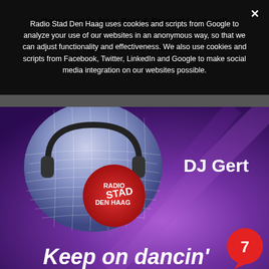Italo Sounds from Past & Present  is so well ... Playlist is in the comments
Radio Stad Den Haag uses cookies and scripts from Google to analyze your use of our websites in an anonymous way, so that we can adjust functionality and effectiveness. We also use cookies and scripts from Facebook, Twitter, LinkedIn and Google to make social media integration on our websites possible.
[Figure (photo): Radio Stad Den Haag promotional image showing a disco mirror ball with headphones and the Radio Stad Den Haag logo in red, with 'DJ Gert' text, a red speech bubble with number 7, and 'Keep on dancin'' text at the bottom. Purple and blue lighting background.]